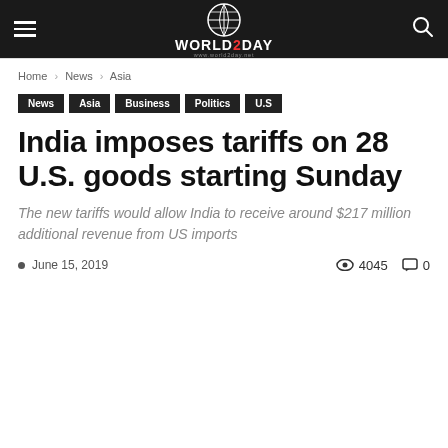World2Day — site header with navigation
Home › News › Asia
News
Asia
Business
Politics
U.S
India imposes tariffs on 28 U.S. goods starting Sunday
The new tariffs would allow India to receive around $217 million additional revenue from US imports
June 15, 2019   4045   0